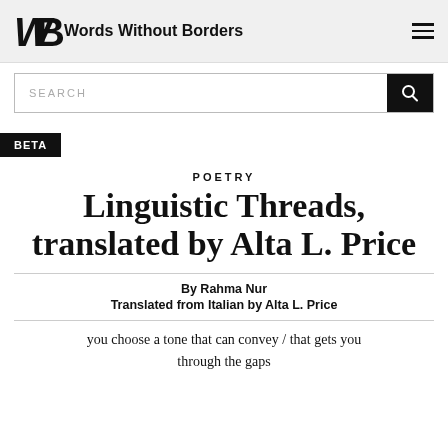Words Without Borders
POETRY
Linguistic Threads, translated by Alta L. Price
By Rahma Nur
Translated from Italian by Alta L. Price
you choose a tone that can convey / that gets you through the gaps